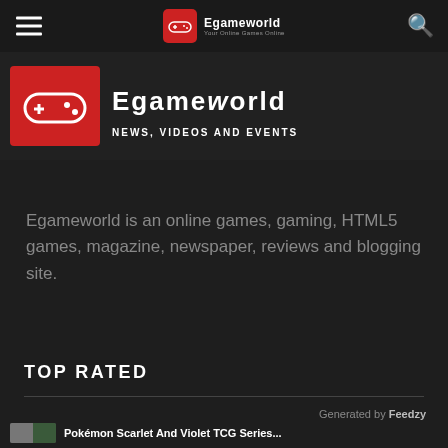Egameworld — News, Videos and Events
[Figure (logo): Egameworld logo with red game controller icon and site name, partially cropped at top. Subtitle reads NEWS, VIDEOS AND EVENTS]
Egameworld is an online games, gaming, HTML5 games, magazine, newspaper, reviews and blogging site.
TOP RATED
Generated by Feedzy